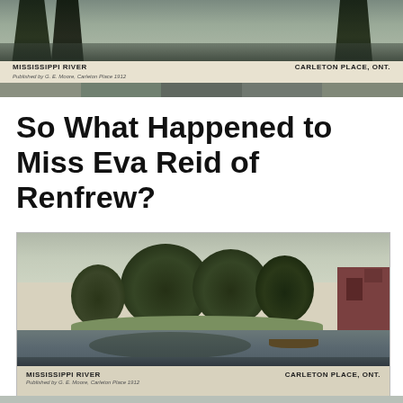[Figure (photo): Top portion of a vintage postcard showing a river scene (Mississippi River at Carleton Place, Ontario) partially cropped at the top of the page. Caption reads MISSISSIPPI RIVER on the left and CARLETON PLACE, ONT. on the right, with a published by line below.]
So What Happened to Miss Eva Reid of Renfrew?
[Figure (photo): Full vintage postcard photograph of the Mississippi River at Carleton Place, Ontario. The scene shows a calm river with reflections, a peninsula with large trees in the middle ground, a red brick building on the right, and a small boat near the shore. Caption reads MISSISSIPPI RIVER on the left and CARLETON PLACE, ONT. on the right, with a published by line below.]